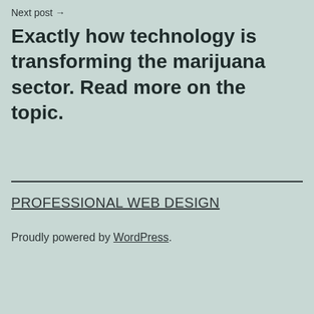Next post →
Exactly how technology is transforming the marijuana sector. Read more on the topic.
PROFESSIONAL WEB DESIGN
Proudly powered by WordPress.